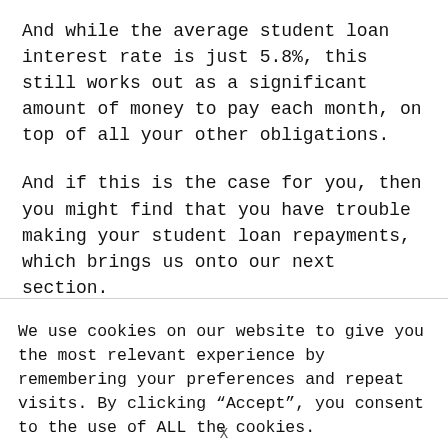And while the average student loan interest rate is just 5.8%, this still works out as a significant amount of money to pay each month, on top of all your other obligations.
And if this is the case for you, then you might find that you have trouble making your student loan repayments, which brings us onto our next section.
We use cookies on our website to give you the most relevant experience by remembering your preferences and repeat visits. By clicking “Accept”, you consent to the use of ALL the cookies.
X